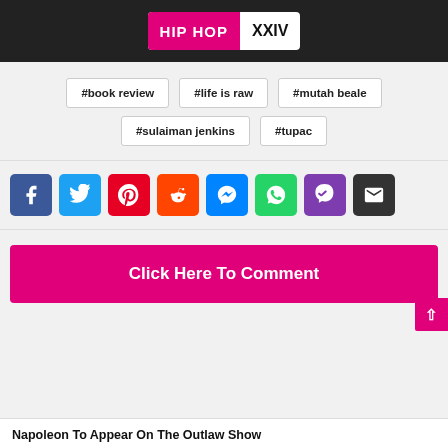HIP HOP XXIV
#book review
#life is raw
#mutah beale
#sulaiman jenkins
#tupac
[Figure (infographic): Social share buttons: Facebook, Twitter, Pinterest, Reddit, Messenger, WhatsApp, Viber, Email]
Click Here To Comment
Napoleon To Appear On The Outlaw Show